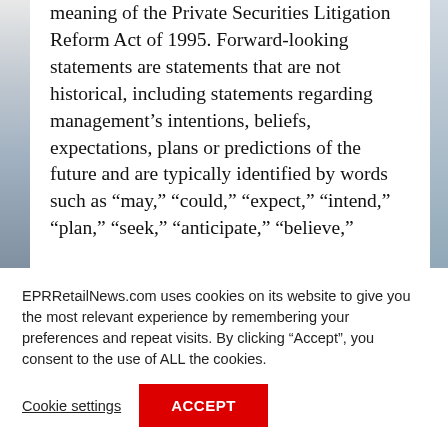meaning of the Private Securities Litigation Reform Act of 1995. Forward-looking statements are statements that are not historical, including statements regarding management's intentions, beliefs, expectations, plans or predictions of the future and are typically identified by words such as “may,” “could,” “expect,” “intend,” “plan,” “seek,” “anticipate,” “believe,”
EPRRetailNews.com uses cookies on its website to give you the most relevant experience by remembering your preferences and repeat visits. By clicking “Accept”, you consent to the use of ALL the cookies.